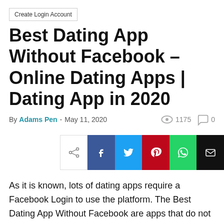Create Login Account
Best Dating App Without Facebook – Online Dating Apps | Dating App in 2020
By Adams Pen - May 11, 2020   1175   0
[Figure (other): Social share bar with share, Facebook, Twitter, Pinterest, WhatsApp, and Email buttons]
As it is known, lots of dating apps require a Facebook Login to use the platform. The Best Dating App Without Facebook are apps that do not need Facebook access to create a profile and use them. Most dating apps and sites use Facebook as a way of legitimizing their membership bases. It serves as a license